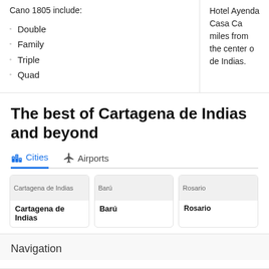Cano 1805 include:
Double
Family
Triple
Quad
Hotel Ayenda Casa Ca... miles from the center of... de Indias.
The best of Cartagena de Indias and beyond
Cities
Airports
Cartagena de Indias
Barú
Rosario
Navigation